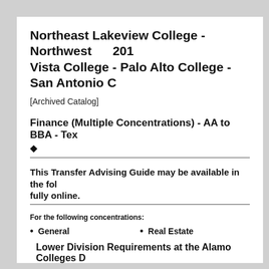Northeast Lakeview College - Northwest Vista College - Palo Alto College - San Antonio C… 201…
[Archived Catalog]
Finance (Multiple Concentrations) - AA to BBA - Tex…
♦
This Transfer Advising Guide may be available in the fol… fully online.
For the following concentrations:
General
Real Estate
Lower Division Requirements at the Alamo Colleges D…